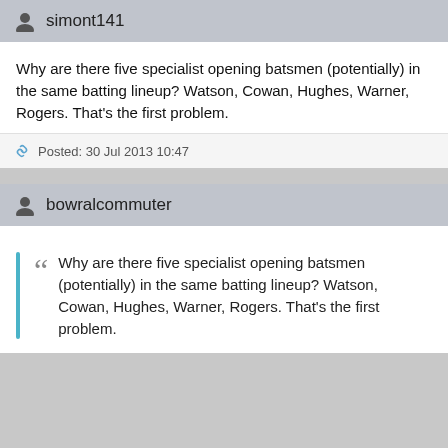simont141
Why are there five specialist opening batsmen (potentially) in the same batting lineup? Watson, Cowan, Hughes, Warner, Rogers. That's the first problem.
Posted: 30 Jul 2013 10:47
bowralcommuter
Why are there five specialist opening batsmen (potentially) in the same batting lineup? Watson, Cowan, Hughes, Warner, Rogers. That's the first problem.